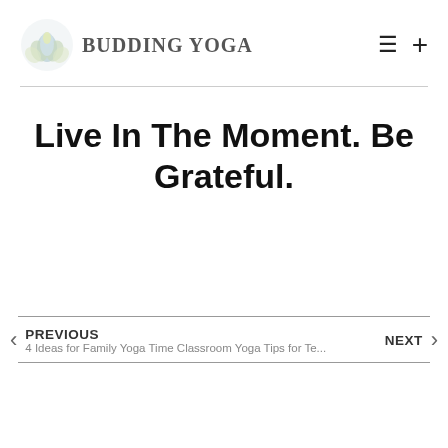[Figure (logo): Budding Yoga logo with lotus flower icon and stylized text]
Live In The Moment. Be Grateful.
PREVIOUS
4 Ideas for Family Yoga Time Classroom Yoga Tips for Te...
NEXT
Classroom Yoga Tips for Te...